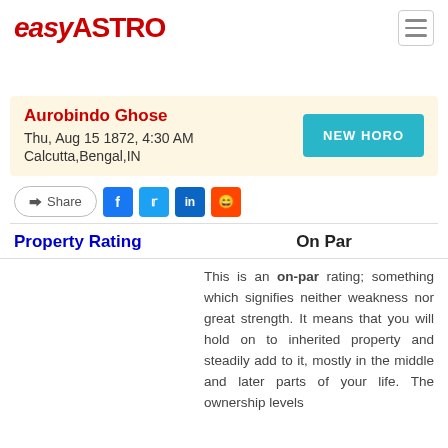easyASTRO
Aurobindo Ghose
Thu, Aug 15 1872, 4:30 AM
Calcutta,Bengal,IN
NEW HORO
Share
Property Rating
On Par
This is an on-par rating; something which signifies neither weakness nor great strength. It means that you will hold on to inherited property and steadily add to it, mostly in the middle and later parts of your life. The ownership levels